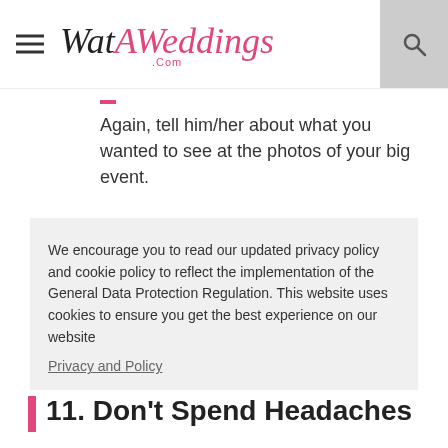WatAWeddings.com
Again, tell him/her about what you wanted to see at the photos of your big event.
We encourage you to read our updated privacy policy and cookie policy to reflect the implementation of the General Data Protection Regulation. This website uses cookies to ensure you get the best experience on our website
Privacy and Policy
Got it!
11. Don't Spend Headaches